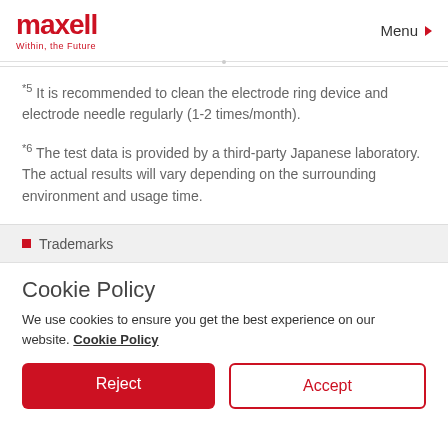maxell Within, the Future | Menu
*5 It is recommended to clean the electrode ring device and electrode needle regularly (1-2 times/month).
*6 The test data is provided by a third-party Japanese laboratory. The actual results will vary depending on the surrounding environment and usage time.
Trademarks
Cookie Policy
We use cookies to ensure you get the best experience on our website. Cookie Policy
Reject | Accept